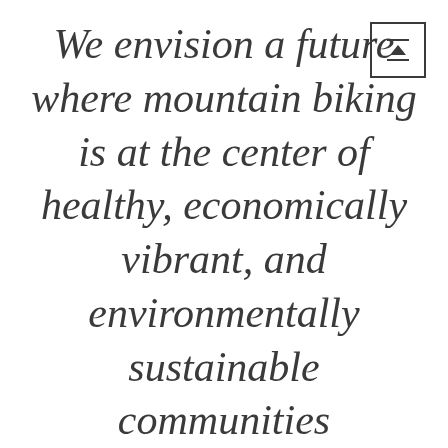We envision a future where mountain biking is at the center of healthy, economically vibrant, and environmentally sustainable communities throughout Vermont, with well-planned, accessible